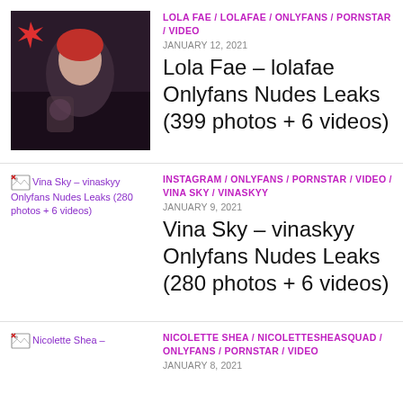[Figure (photo): Thumbnail photo of Lola Fae]
LOLA FAE / LOLAFAE / ONLYFANS / PORNSTAR / VIDEO
JANUARY 12, 2021
Lola Fae – lolafae Onlyfans Nudes Leaks (399 photos + 6 videos)
[Figure (photo): Broken thumbnail image for Vina Sky – vinaskyy Onlyfans Nudes Leaks (280 photos + 6 videos)]
INSTAGRAM / ONLYFANS / PORNSTAR / VIDEO / VINA SKY / VINASKYY
JANUARY 9, 2021
Vina Sky – vinaskyy Onlyfans Nudes Leaks (280 photos + 6 videos)
[Figure (photo): Broken thumbnail image for Nicolette Shea]
NICOLETTE SHEA / NICOLETTESHEASQUAD / ONLYFANS / PORNSTAR / VIDEO
JANUARY 8, 2021